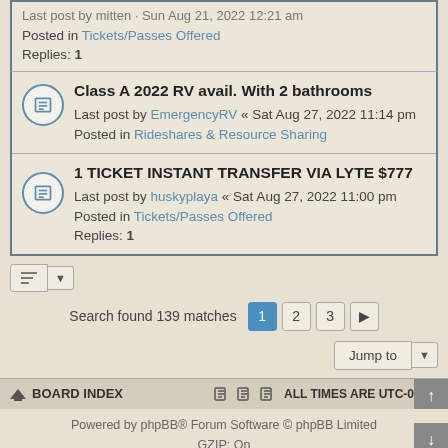Last post by mitten · Sun Aug 21, 2022 12:21 am
Posted in Tickets/Passes Offered
Replies: 1
Class A 2022 RV avail. With 2 bathrooms
Last post by EmergencyRV « Sat Aug 27, 2022 11:14 pm
Posted in Rideshares & Resource Sharing
1 TICKET INSTANT TRANSFER VIA LYTE $777
Last post by huskyplaya « Sat Aug 27, 2022 11:00 pm
Posted in Tickets/Passes Offered
Replies: 1
Search found 139 matches
Jump to
BOARD INDEX   ALL TIMES ARE UTC-07:00
Powered by phpBB® Forum Software © phpBB Limited
GZIP: On